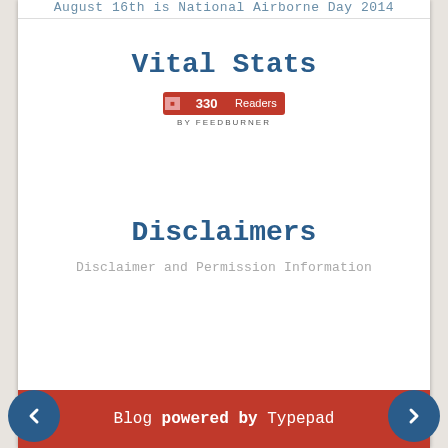August 16th is National Airborne Day 2014
Vital Stats
[Figure (other): FeedBurner badge showing 330 Readers]
Disclaimers
Disclaimer and Permission Information
Blog powered by Typepad